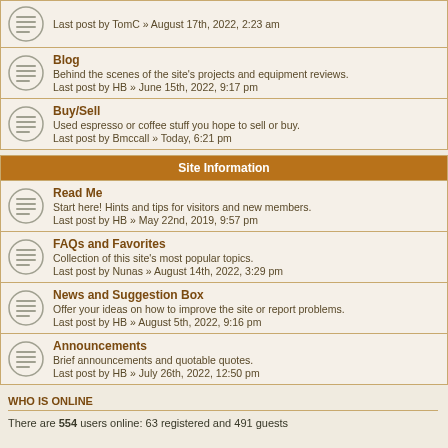Last post by TomC » August 17th, 2022, 2:23 am
Blog
Behind the scenes of the site's projects and equipment reviews.
Last post by HB » June 15th, 2022, 9:17 pm
Buy/Sell
Used espresso or coffee stuff you hope to sell or buy.
Last post by Bmccall » Today, 6:21 pm
Site Information
Read Me
Start here! Hints and tips for visitors and new members.
Last post by HB » May 22nd, 2019, 9:57 pm
FAQs and Favorites
Collection of this site's most popular topics.
Last post by Nunas » August 14th, 2022, 3:29 pm
News and Suggestion Box
Offer your ideas on how to improve the site or report problems.
Last post by HB » August 5th, 2022, 9:16 pm
Announcements
Brief announcements and quotable quotes.
Last post by HB » July 26th, 2022, 12:50 pm
WHO IS ONLINE
There are 554 users online: 63 registered and 491 guests